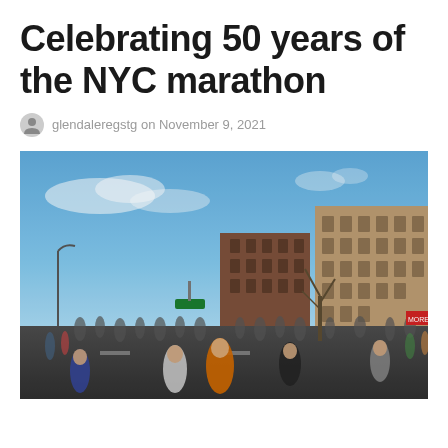Celebrating 50 years of the NYC marathon
glendaleregstg on November 9, 2021
[Figure (photo): Outdoor photo of runners in the NYC marathon on a city street with brick apartment buildings and a clear blue sky. Many participants running in the foreground wearing race bibs.]